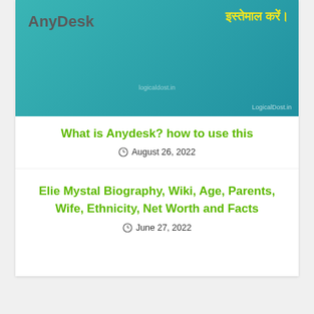[Figure (screenshot): AnyDesk promotional banner with teal background. Text 'AnyDesk' in grey on the left, Hindi text in yellow on the right. Watermarks: 'logicaldost.in' center and 'LogicalDost.in' bottom right.]
What is Anydesk? how to use this
August 26, 2022
Elie Mystal Biography, Wiki, Age, Parents, Wife, Ethnicity, Net Worth and Facts
June 27, 2022